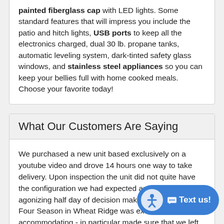painted fiberglass cap with LED lights. Some standard features that will impress you include the patio and hitch lights, USB ports to keep all the electronics charged, dual 30 lb. propane tanks, automatic leveling system, dark-tinted safety glass windows, and stainless steel appliances so you can keep your bellies full with home cooked meals. Choose your favorite today!
What Our Customers Are Saying
We purchased a new unit based exclusively on a youtube video and drove 14 hours one way to take delivery. Upon inspection the unit did not quite have the configuration we had expected and we had an agonizing half day of decision making. The team at Four Season in Wheat Ridge was exceptionally accommodating - in particular made sure that we left the dealership as 10 customers. … More »